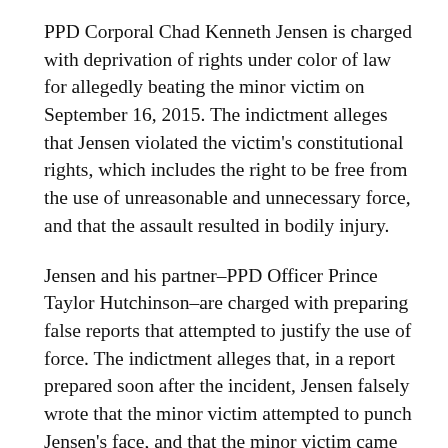PPD Corporal Chad Kenneth Jensen is charged with deprivation of rights under color of law for allegedly beating the minor victim on September 16, 2015. The indictment alleges that Jensen violated the victim's constitutional rights, which includes the right to be free from the use of unreasonable and unnecessary force, and that the assault resulted in bodily injury.
Jensen and his partner–PPD Officer Prince Taylor Hutchinson–are charged with preparing false reports that attempted to justify the use of force. The indictment alleges that, in a report prepared soon after the incident, Jensen falsely wrote that the minor victim attempted to punch Jensen's face, and that the minor victim came within arm's reach of another officer who was escorting an individual who had been placed under arrest. Hutchinson similarly is accused of writing a report that falsely stated the victim had